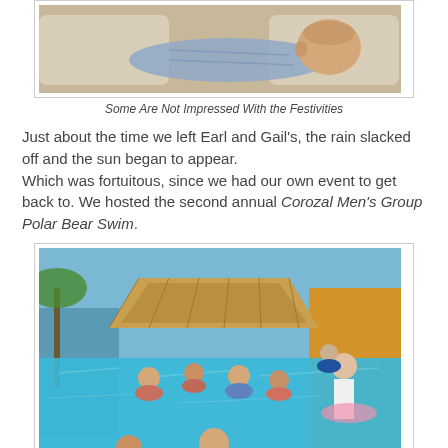[Figure (photo): Person lying on a couch/sofa, apparently sleeping or resting, seen from above]
Some Are Not Impressed With the Festivities
Just about the time we left Earl and Gail's, the rain slacked off and the sun began to appear.
Which was fortuitous, since we had our own event to get back to. We hosted the second annual Corozal Men's Group Polar Bear Swim.
[Figure (photo): Group of people in a swimming pool at a tropical location with a thatched roof palapa in the background]
Our Intrepid Polar Bears